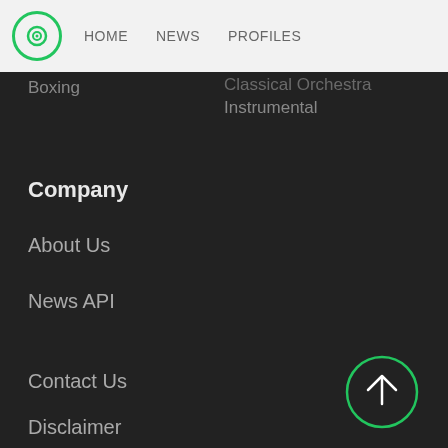HOME   NEWS   PROFILES
Boxing
Classical Orchestra
Instrumental
Company
About Us
News API
Mission
Newswire
Fact-Checking Policy
Contact Us
Disclaimer
[Figure (illustration): Scroll to top button — a dark circle with green border and a white upward arrow inside]